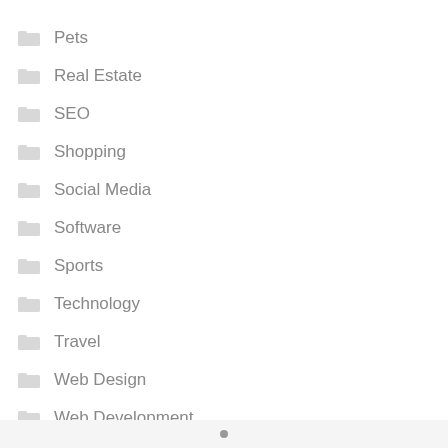Pets
Real Estate
SEO
Shopping
Social Media
Software
Sports
Technology
Travel
Web Design
Web Development
•